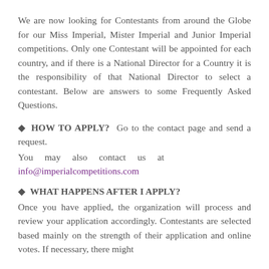We are now looking for Contestants from around the Globe for our Miss Imperial, Mister Imperial and Junior Imperial competitions. Only one Contestant will be appointed for each country, and if there is a National Director for a Country it is the responsibility of that National Director to select a contestant. Below are answers to some Frequently Asked Questions.
HOW TO APPLY? Go to the contact page and send a request. You may also contact us at info@imperialcompetitions.com
WHAT HAPPENS AFTER I APPLY? Once you have applied, the organization will process and review your application accordingly. Contestants are selected based mainly on the strength of their application and online votes. If necessary, there might